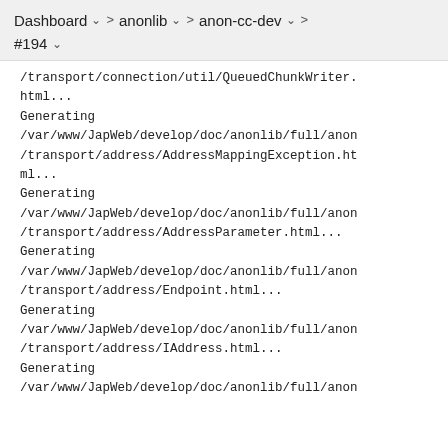Dashboard > anonlib > anon-cc-dev > #194
/transport/connection/util/QueuedChunkWriter.html...
Generating
/var/www/JapWeb/develop/doc/anonlib/full/anon
/transport/address/AddressMappingException.html...
Generating
/var/www/JapWeb/develop/doc/anonlib/full/anon
/transport/address/AddressParameter.html...
Generating
/var/www/JapWeb/develop/doc/anonlib/full/anon
/transport/address/Endpoint.html...
Generating
/var/www/JapWeb/develop/doc/anonlib/full/anon
/transport/address/IAddress.html...
Generating
/var/www/JapWeb/develop/doc/anonlib/full/anon